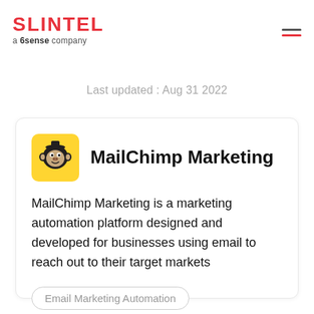SLINTEL a 6sense company
Last updated : Aug 31 2022
MailChimp Marketing
MailChimp Marketing is a marketing automation platform designed and developed for businesses using email to reach out to their target markets
Email Marketing Automation